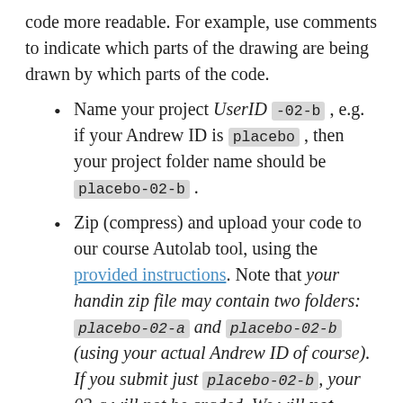code more readable. For example, use comments to indicate which parts of the drawing are being drawn by which parts of the code.
Name your project UserID -02-b , e.g. if your Andrew ID is placebo , then your project folder name should be placebo-02-b .
Zip (compress) and upload your code to our course Autolab tool, using the provided instructions. Note that your handin zip file may contain two folders: placebo-02-a and placebo-02-b (using your actual Andrew ID of course). If you submit just placebo-02-b, your 02-a will not be graded. We will not search through your submission history looking for missing files.